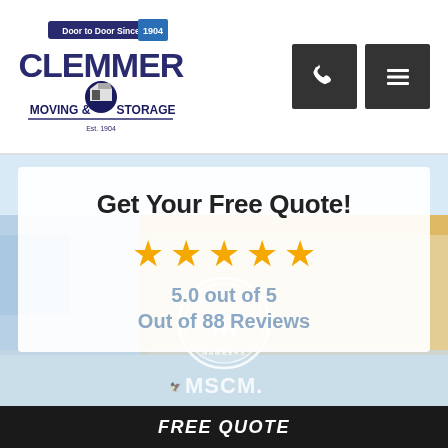[Figure (logo): Clemmer Moving & Storage logo with 'Door to Door Since 1904' banner]
[Figure (infographic): Phone icon button (dark square) and hamburger menu button (dark square) for navigation]
Get Your Free Quote!
[Figure (infographic): Five gold star rating icons]
5.0 out of 5
Out of 88 Reviews
[Figure (logo): Certified MAM movers circular badge/seal in white]
[Figure (logo): ATA MSCM logo on background image]
FREE QUOTE